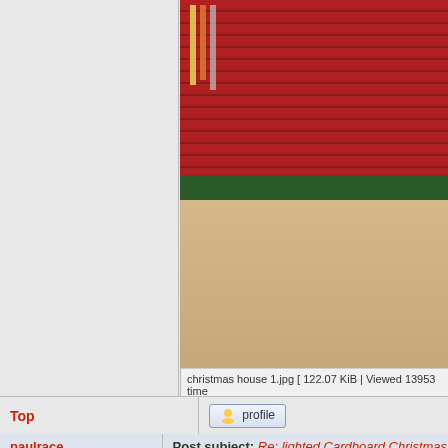[Figure (photo): Partial view of a cardboard Christmas house decoration with brick pattern and green trim, photo cropped at top]
christmas house 1.jpg [ 122.07 KiB | Viewed 13953 time
Top
profile
paulrace
Post subject: Re: lighted Cardboard Christmas Decoratio
[Figure (photo): Avatar photo of a middle-aged man with glasses and gray beard, smiling]
offline
Site Admin
Joined: Fri Dec 06, 2013 4:53 pm
Posts: 295
Two more from gary-G
[img]
Attachment:
004.jpg
[/img]
[img]